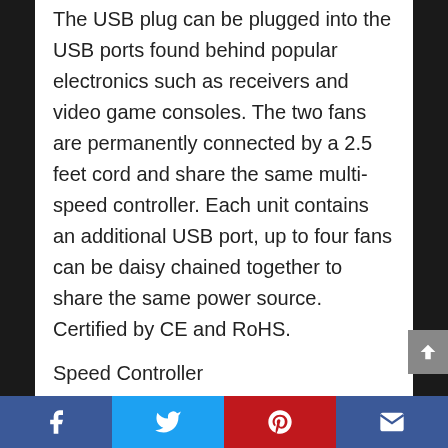The USB plug can be plugged into the USB ports found behind popular electronics such as receivers and video game consoles. The two fans are permanently connected by a 2.5 feet cord and share the same multi-speed controller. Each unit contains an additional USB port, up to four fans can be daisy chained together to share the same power source. Certified by CE and RoHS.
Speed Controller
The fan includes an in-line multi-speed controller with power switch to set the fan's speed to optimal noise and airflow levels for
Facebook | Twitter | Pinterest | Email